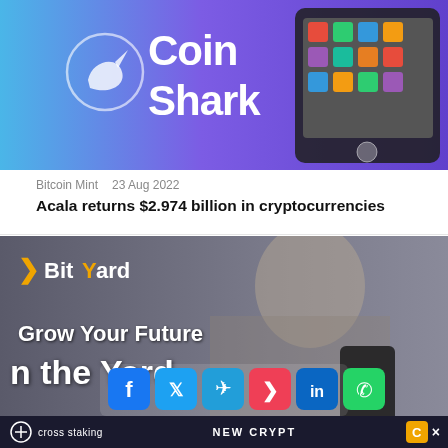[Figure (illustration): CoinShark banner with logo on purple/blue gradient background and tablet device on right]
Bitcoin Mint   23 Aug 2022
Acala returns $2.974 billion in cryptocurrencies
[Figure (illustration): BitYard advertisement banner with person holding phone, 'Grow Your Future in the Yard' text, and social media sharing buttons at bottom]
cross staking   NEW CRYPT   C ×